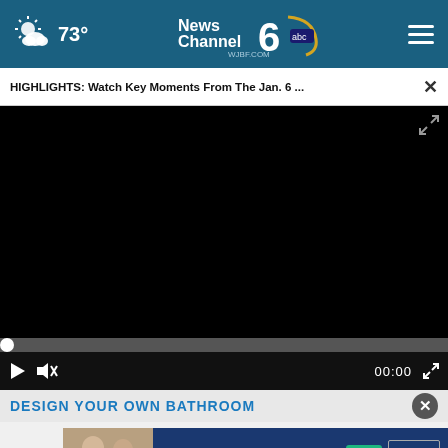73° News Channel 6 abc WJBF.COM
HIGHLIGHTS: Watch Key Moments From The Jan. 6 ...
[Figure (screenshot): Black video player area showing a paused/unloaded video with a progress bar at the bottom, play button, mute button, timecode 00:00, and fullscreen icon.]
DESIGN YOUR OWN BATHROOM
MORE
[Figure (photo): Thumbnail image of two people, likely older adults, smiling outdoors.]
[Figure (advertisement): Living Healthy advertisement - Fridays on Good Morning Augusta - Doctors Hospital - Learn More button]